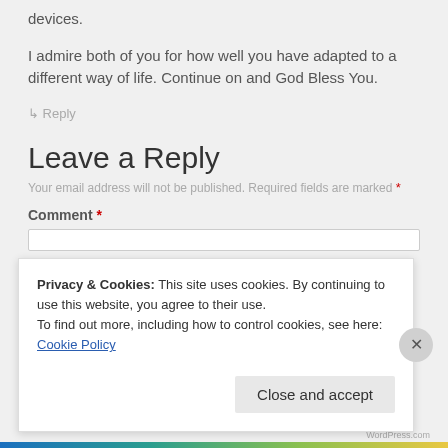devices.
I admire both of you for how well you have adapted to a different way of life. Continue on and God Bless You.
↳ Reply
Leave a Reply
Your email address will not be published. Required fields are marked *
Comment *
Privacy & Cookies: This site uses cookies. By continuing to use this website, you agree to their use.
To find out more, including how to control cookies, see here: Cookie Policy
Close and accept